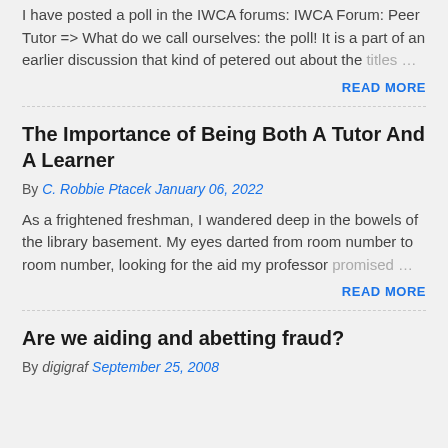I have posted a poll in the IWCA forums: IWCA Forum: Peer Tutor => What do we call ourselves: the poll! It is a part of an earlier discussion that kind of petered out about the titles …
READ MORE
The Importance of Being Both A Tutor And A Learner
By C. Robbie Ptacek January 06, 2022
As a frightened freshman, I wandered deep in the bowels of the library basement. My eyes darted from room number to room number, looking for the aid my professor promised …
READ MORE
Are we aiding and abetting fraud?
By digigraf September 25, 2008